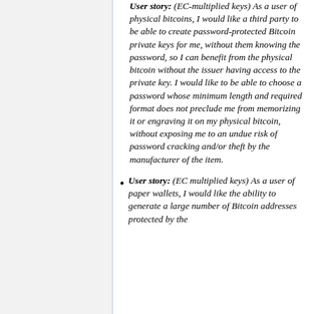User story: (EC-multiplied keys) As a user of physical bitcoins, I would like a third party to be able to create password-protected Bitcoin private keys for me, without them knowing the password, so I can benefit from the physical bitcoin without the issuer having access to the private key. I would like to be able to choose a password whose minimum length and required format does not preclude me from memorizing it or engraving it on my physical bitcoin, without exposing me to an undue risk of password cracking and/or theft by the manufacturer of the item.
User story: (EC multiplied keys) As a user of paper wallets, I would like the ability to generate a large number of Bitcoin addresses protected by the...